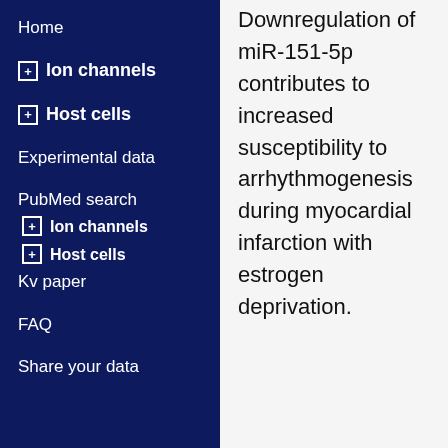Home
Ion channels
Host cells
Experimental data
PubMed search
Ion channels
Host cells
Kv paper
FAQ
Share your data
Downregulation of miR-151-5p contributes to increased susceptibility to arrhythmogenesis during myocardial infarction with estrogen deprivation.